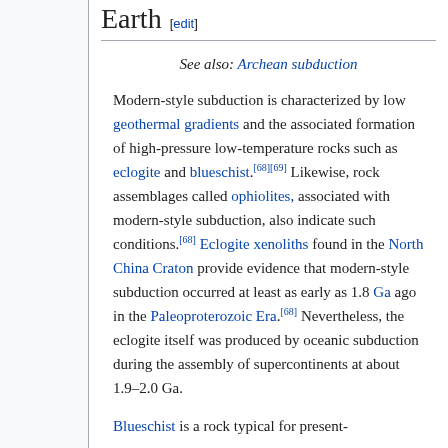Earth [edit]
See also: Archean subduction
Modern-style subduction is characterized by low geothermal gradients and the associated formation of high-pressure low-temperature rocks such as eclogite and blueschist.[68][69] Likewise, rock assemblages called ophiolites, associated with modern-style subduction, also indicate such conditions.[68] Eclogite xenoliths found in the North China Craton provide evidence that modern-style subduction occurred at least as early as 1.8 Ga ago in the Paleoproterozoic Era.[68] Nevertheless, the eclogite itself was produced by oceanic subduction during the assembly of supercontinents at about 1.9–2.0 Ga.
Blueschist is a rock typical for present-